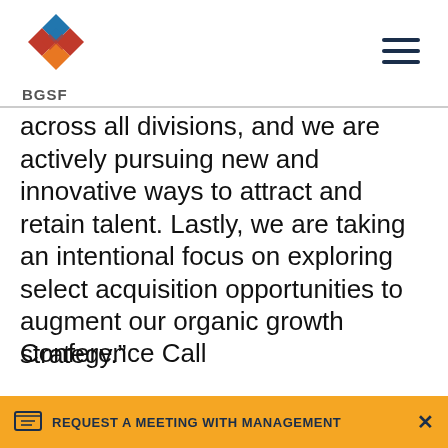BGSF
across all divisions, and we are actively pursuing new and innovative ways to attract and retain talent. Lastly, we are taking an intentional focus on exploring select acquisition opportunities to augment our organic growth strategy.”
Conference Call
International callers: 412-316-0561 (U.S. callers), 412-317-5735
REQUEST A MEETING WITH MANAGEMENT